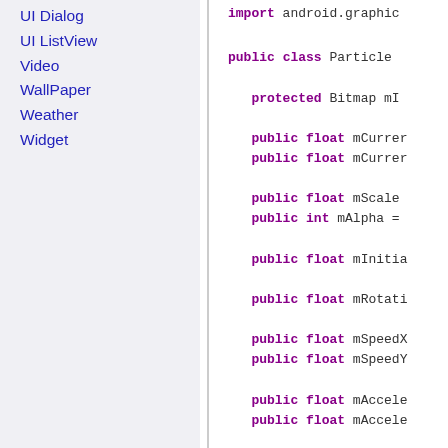UI Dialog
UI ListView
Video
WallPaper
Weather
Widget
import android.graphic
public class Particle
  protected Bitmap mI
  public float mCurrer
  public float mCurrer
  public float mScale
  public int mAlpha =
  public float mInitia
  public float mRotati
  public float mSpeedX
  public float mSpeedY
  public float mAccele
  public float mAccele
  private Matrix mMatr
  private Paint mPaint